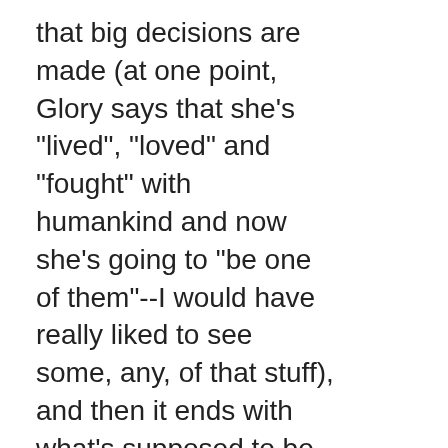that big decisions are made (at one point, Glory says that she's "lived", "loved" and "fought" with humankind and now she's going to "be one of them"--I would have really liked to see some, any, of that stuff), and then it ends with what's supposed to be the big dramatic moment, which is the character near death in a hidden back room and the ominous mention of bad-times-a-coming...
So 2 (though if...